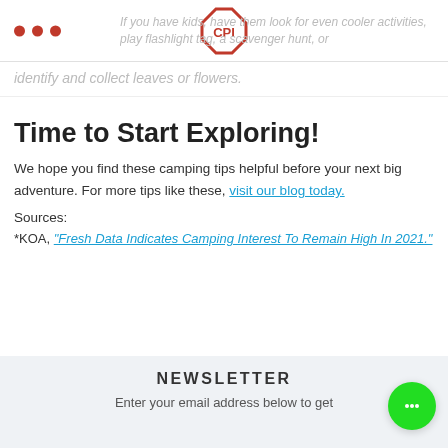CPI logo header with navigation dots
identify and collect leaves or flowers.
Time to Start Exploring!
We hope you find these camping tips helpful before your next big adventure. For more tips like these, visit our blog today.
Sources:
*KOA, "Fresh Data Indicates Camping Interest To Remain High In 2021."
NEWSLETTER
Enter your email address below to get